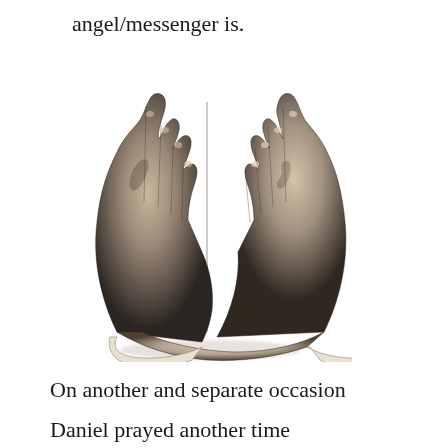angel/messenger is.
[Figure (illustration): Albrecht Dürer's 'Praying Hands' — a detailed grayscale drawing of two hands clasped together in prayer, with long fingers pointing upward, rendered in fine pencil/charcoal detail on a white background.]
On another and separate occasion
Daniel prayed another time